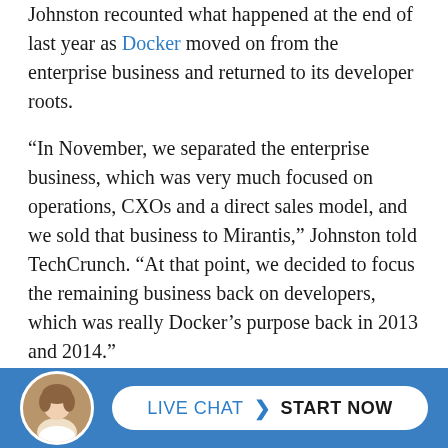Johnston recounted what happened at the end of last year as Docker moved on from the enterprise business and returned to its developer roots.
“In November, we separated the enterprise business, which was very much focused on operations, CXOs and a direct sales model, and we sold that business to Mirantis,” Johnston told TechCrunch. “At that point, we decided to focus the remaining business back on developers, which was really Docker’s purpose back in 2013 and 2014.”
What Docker has in its favor is that it’s the company that popularized the idea of containerizing software. It is hoping to build on that advantage with a new...
[Figure (infographic): Live chat bar with agent avatar photo and a white pill-shaped button reading LIVE CHAT with chevron and START NOW]